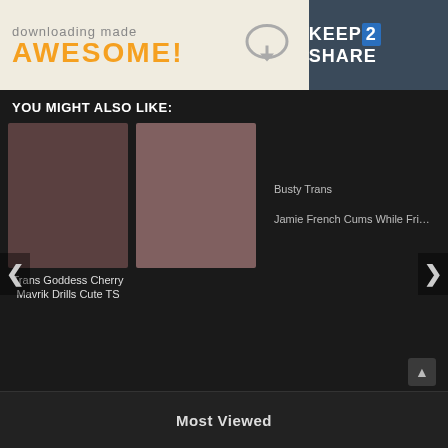[Figure (screenshot): Keep2Share advertisement banner: 'downloading made AWESOME!' with cloud download icon and Keep2Share logo on dark blue-grey background]
YOU MIGHT ALSO LIKE:
[Figure (photo): Thumbnail image - first video card]
Trans Goddess Cherry Mavrik Drills Cute TS
[Figure (photo): Thumbnail image - second video card]
Busty Trans
Jamie French Cums While Fri…
Most Viewed